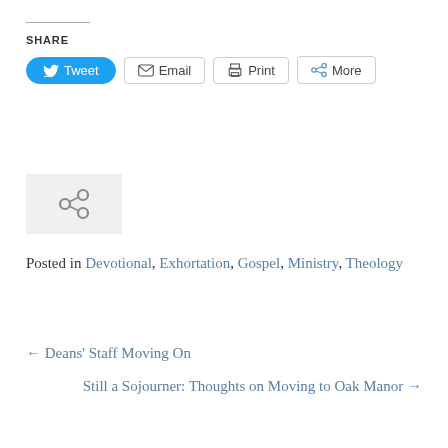SHARE
[Figure (screenshot): Share buttons row: Tweet (blue pill button with Twitter bird icon), Email (with envelope icon), Print (with printer icon), More (with share icon)]
[Figure (other): Share/link icon on grey background]
Posted in Devotional, Exhortation, Gospel, Ministry, Theology
← Deans' Staff Moving On
Still a Sojourner: Thoughts on Moving to Oak Manor →